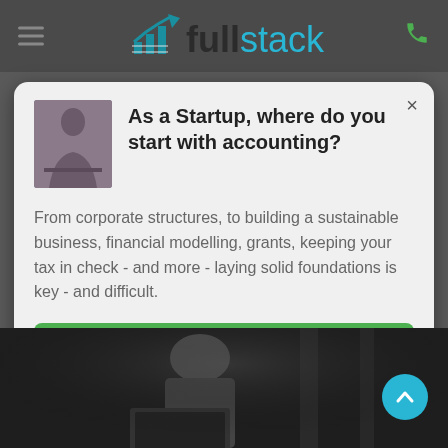[Figure (logo): Fullstack logo with chart icon in teal, company name 'fullstack' in dark and teal colors]
As a Startup, where do you start with accounting?
From corporate structures, to building a sustainable business, financial modelling, grants, keeping your tax in check - and more - laying solid foundations is key - and difficult.
Find out more
[Figure (photo): Man working at a laptop in a dark industrial setting]